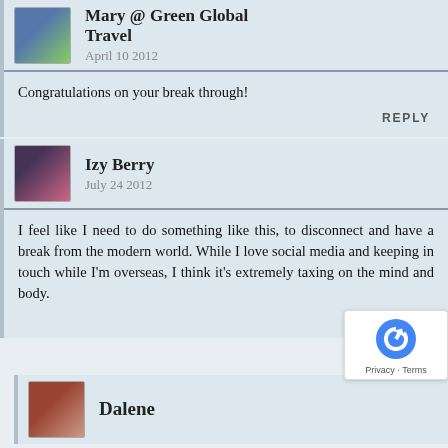Mary @ Green Global Travel
April 10 2012
Congratulations on your break through!
REPLY
Izy Berry
July 24 2012
I feel like I need to do something like this, to disconnect and have a break from the modern world. While I love social media and keeping in touch while I'm overseas, I think it's extremely taxing on the mind and body.
REPLY
Dalene